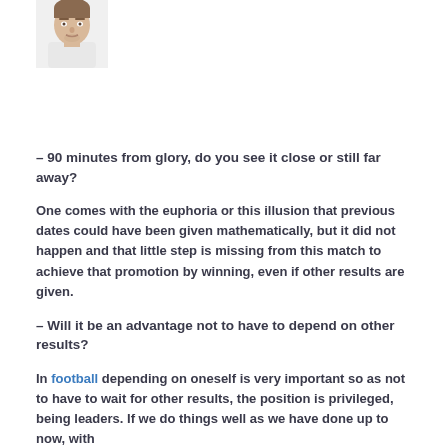[Figure (photo): Headshot photo of a person (male, short hair, light shirt) cropped at the top of the page]
– 90 minutes from glory, do you see it close or still far away?
One comes with the euphoria or this illusion that previous dates could have been given mathematically, but it did not happen and that little step is missing from this match to achieve that promotion by winning, even if other results are given.
– Will it be an advantage not to have to depend on other results?
In football depending on oneself is very important so as not to have to wait for other results, the position is privileged, being leaders. If we do things well as we have done up to now, with